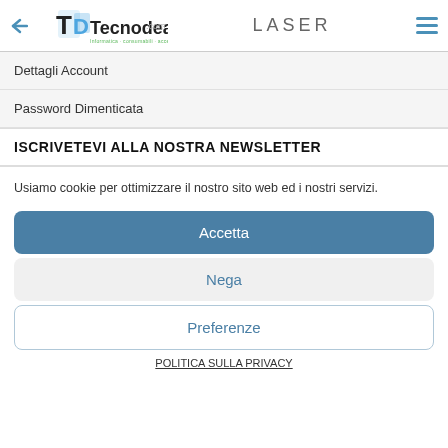Tecnodea.com LASER
Dettagli Account
Password Dimenticata
ISCRIVETEVI ALLA NOSTRA NEWSLETTER
Usiamo cookie per ottimizzare il nostro sito web ed i nostri servizi.
Accetta
Nega
Preferenze
POLITICA SULLA PRIVACY